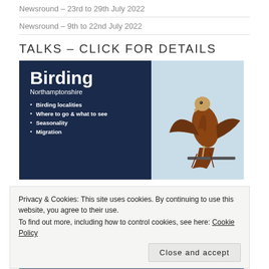Newsround – 23rd to 29th July 2022
Newsround – 9th to 22nd July 2022
TALKS – CLICK FOR DETAILS
[Figure (photo): Birding Northamptonshire slide/card image showing a raptor (Red Kite) perched on a branch against a light blue sky, with bullet points: Birding localities, Where to go & what to see, Seasonality, Migration]
Privacy & Cookies: This site uses cookies. By continuing to use this website, you agree to their use.
To find out more, including how to control cookies, see here: Cookie Policy
Close and accept
[Figure (photo): Bottom strip showing 'Birding Israel' text on a blue background]